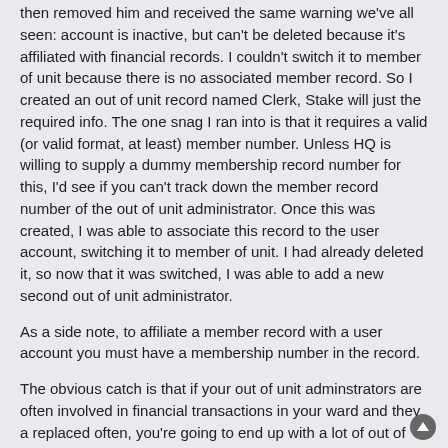then removed him and received the same warning we've all seen: account is inactive, but can't be deleted because it's affiliated with financial records. I couldn't switch it to member of unit because there is no associated member record. So I created an out of unit record named Clerk, Stake will just the required info. The one snag I ran into is that it requires a valid (or valid format, at least) member number. Unless HQ is willing to supply a dummy membership record number for this, I'd see if you can't track down the member record number of the out of unit administrator. Once this was created, I was able to associate this record to the user account, switching it to member of unit. I had already deleted it, so now that it was switched, I was able to add a new second out of unit administrator.
As a side note, to affiliate a member record with a user account you must have a membership number in the record.
The obvious catch is that if your out of unit adminstrators are often involved in financial transactions in your ward and they a replaced often, you're going to end up with a lot of out of unit records in your records.They will show up on your directories and rolls and home teaching lists.
* Disclaimer - in case you didn't see it above, I did all this in the test_ward and not my actual ward MLS.